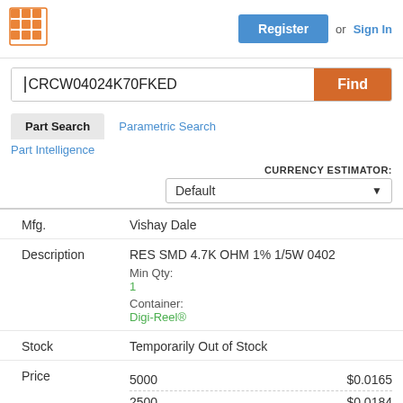[Figure (logo): Orange grid/matrix logo icon]
Register  or  Sign In
CRCW04024K70FKED
Find
Part Search
Parametric Search
Part Intelligence
CURRENCY ESTIMATOR: Default
| Field | Value |
| --- | --- |
| Mfg. | Vishay Dale |
| Description | RES SMD 4.7K OHM 1% 1/5W 0402
Min Qty:
1
Container:
Digi-Reel® |
| Stock | Temporarily Out of Stock |
| Price | 5000  $0.0165
2500  $0.0184
1000  $0.0213 |